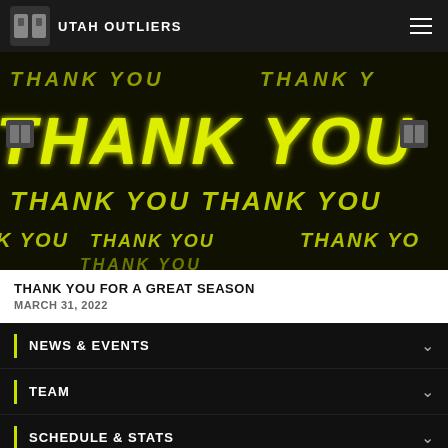UTAH OUTLIERS
[Figure (photo): Dark background with repeated 'THANK YOU' text in bold yellow italic letters at various sizes, glowing neon effect. Team logo icons visible on the sides.]
THANK YOU FOR A GREAT SEASON
MARCH 31, 2022
NEWS & EVENTS
TEAM
SCHEDULE & STATS
FAN ZONE